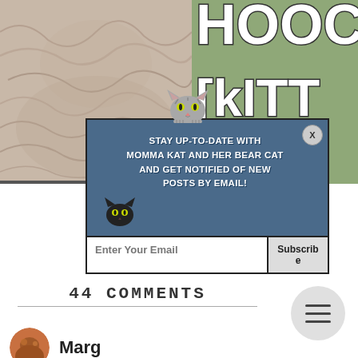[Figure (photo): Top-left: photo of a fluffy cat with gray and white fur. Top-right: green banner with white outlined bold text partially visible reading 'KITTY' and 'OV' (cropped).]
[Figure (infographic): Popup overlay with dark blue-gray background. Gray tabby cat emoji at top. Text: 'STAY UP-TO-DATE WITH MOMMA KAT AND HER BEAR CAT AND GET NOTIFIED OF NEW POSTS BY EMAIL!' Black cat emoji at bottom-left. Email input field with 'Enter Your Email' placeholder and 'Subscribe' button. X close button in top-right corner.]
44 COMMENTS
[Figure (illustration): Circular menu/hamburger button icon (three horizontal lines) on gray circle background, positioned to the right of the comments heading.]
Marg